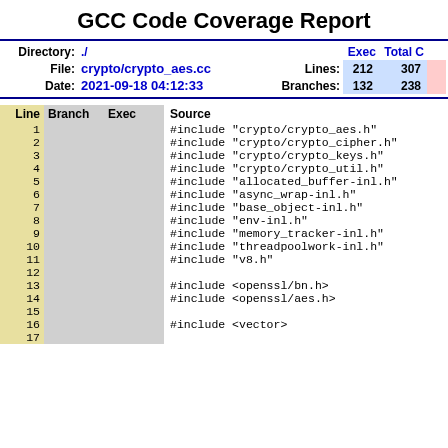GCC Code Coverage Report
| Directory: | ./ |  | Exec | Total | C |
| --- | --- | --- | --- | --- | --- |
| File: | crypto/crypto_aes.cc | Lines: | 212 | 307 |  |
| Date: | 2021-09-18 04:12:33 | Branches: | 132 | 238 |  |
| Line | Branch | Exec | Source |
| --- | --- | --- | --- |
| 1 |  |  | #include "crypto/crypto_aes.h" |
| 2 |  |  | #include "crypto/crypto_cipher.h" |
| 3 |  |  | #include "crypto/crypto_keys.h" |
| 4 |  |  | #include "crypto/crypto_util.h" |
| 5 |  |  | #include "allocated_buffer-inl.h" |
| 6 |  |  | #include "async_wrap-inl.h" |
| 7 |  |  | #include "base_object-inl.h" |
| 8 |  |  | #include "env-inl.h" |
| 9 |  |  | #include "memory_tracker-inl.h" |
| 10 |  |  | #include "threadpoolwork-inl.h" |
| 11 |  |  | #include "v8.h" |
| 12 |  |  |  |
| 13 |  |  | #include <openssl/bn.h> |
| 14 |  |  | #include <openssl/aes.h> |
| 15 |  |  |  |
| 16 |  |  | #include <vector> |
| 17 |  |  |  |